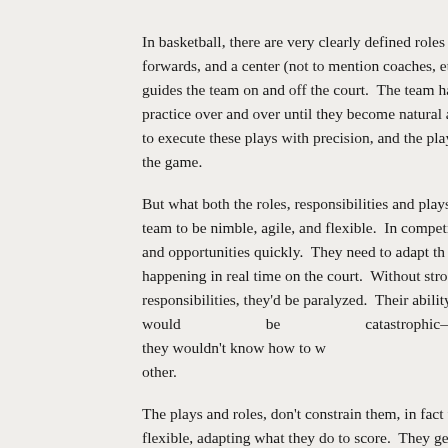In basketball, there are very clearly defined roles forwards, and a center (not to mention coaches, etc.). guides the team on and off the court. The team has practice over and over until they become natural and s to execute these plays with precision, and the plays c the game.

But what both the roles, responsibilities and plays rea team to be nimble, agile, and flexible. In competition, t and opportunities quickly. They need to adapt th happening in real time on the court. Without stro responsibilities, they'd be paralyzed. Their ability to re would be catastrophic–they wouldn't know how to w other.

The plays and roles, don't constrain them, in fact th flexible, adapting what they do to score. They get the position to move the ball forward or to score. The focused on the performance of one individual–the tear and triple teamed. They are prevented from scoring. be a show-boater, and not a team player, adversely i